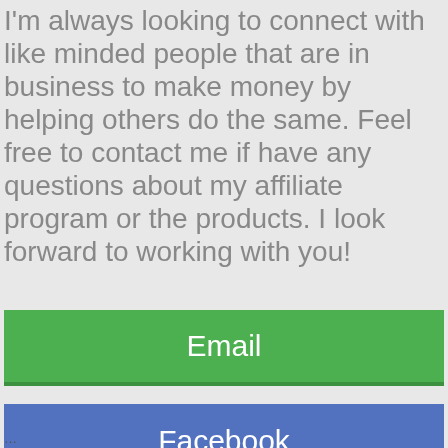I'm always looking to connect with like minded people that are in business to make money by helping others do the same. Feel free to contact me if have any questions about my affiliate program or the products. I look forward to working with you!
[Figure (other): Green button labeled 'Email']
[Figure (other): Blue button labeled 'Facebook']
…